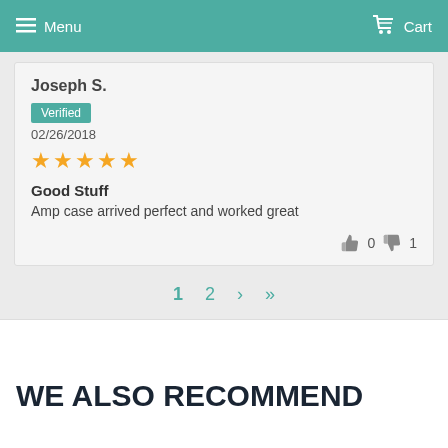Menu   Cart
Joseph S.
Verified
02/26/2018
★★★★★
Good Stuff
Amp case arrived perfect and worked great
👍 0   👎 1
1  2  ›  »
WE ALSO RECOMMEND